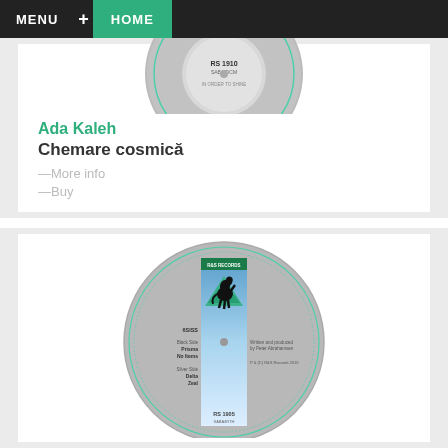MENU + HOME
[Figure (illustration): Partial vinyl record label showing RS 1910 catalog number]
Ada Kaleh
Chemare cosmică
—More info
—Buy
[Figure (illustration): Vinyl record label for R&S Records showing horse logo, catalog 6SISS RS 1905, with tracks: Black Side: Prisma, No Items; Silver Side: Delta, Zeal. Written and produced by Peter Abrahamsen. P & C R&S Records 2019]